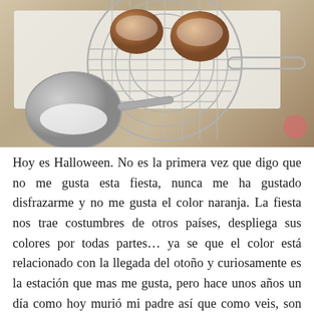[Figure (photo): Overhead photo of fried sugar-dusted pastry balls (buñuelos) on a circular wire cooling rack placed on a white cutting board. A metal sieve with powdered sugar is visible in the lower-left corner. A small pink circle (social share button) appears in the lower-right.]
Hoy es Halloween. No es la primera vez que digo que no me gusta esta fiesta, nunca me ha gustado disfrazarme y no me gusta el color naranja. La fiesta nos trae costumbres de otros países, despliega sus colores por todas partes… ya se que el color está relacionado con la llegada del otoño y curiosamente es la estación que mas me gusta, pero hace unos años un día como hoy murió mi padre así que como veis, son varios los motivos para no celebrarla. De todos modos,